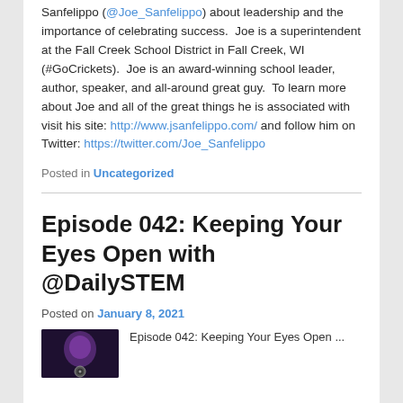Sanfelippo (@Joe_Sanfelippo) about leadership and the importance of celebrating success.  Joe is a superintendent at the Fall Creek School District in Fall Creek, WI (#GoCrickets).  Joe is an award-winning school leader, author, speaker, and all-around great guy.  To learn more about Joe and all of the great things he is associated with visit his site: http://www.jsanfelippo.com/ and follow him on Twitter: https://twitter.com/Joe_Sanfelippo
Posted in Uncategorized
Episode 042: Keeping Your Eyes Open with @DailySTEM
Posted on January 8, 2021
[Figure (photo): Thumbnail image for Episode 042 podcast, dark purple/black background with partial face visible and podcast icon]